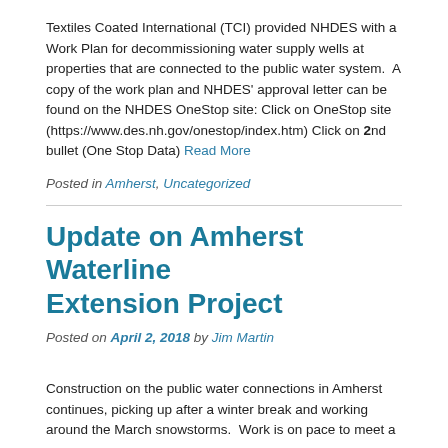Textiles Coated International (TCI) provided NHDES with a Work Plan for decommissioning water supply wells at properties that are connected to the public water system.  A copy of the work plan and NHDES' approval letter can be found on the NHDES OneStop site: Click on OneStop site (https://www.des.nh.gov/onestop/index.htm) Click on 2nd bullet (One Stop Data) Read More
Posted in Amherst, Uncategorized
Update on Amherst Waterline Extension Project
Posted on April 2, 2018 by Jim Martin
Construction on the public water connections in Amherst continues, picking up after a winter break and working around the March snowstorms.  Work is on pace to meet a